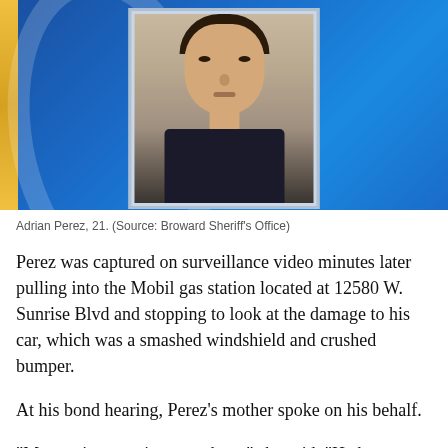[Figure (photo): Mugshot of Adrian Perez, 21, against a blue broadcast news background with gold stripe on left side. The image shows a young man's booking photo framed against a blue gradient news broadcast background.]
Adrian Perez, 21. (Source: Broward Sheriff's Office)
Perez was captured on surveillance video minutes later pulling into the Mobil gas station located at 12580 W. Sunrise Blvd and stopping to look at the damage to his car, which was a smashed windshield and crushed bumper.
At his bond hearing, Perez's mother spoke on his behalf.
"My son is not going anywhere," she said. "He has no